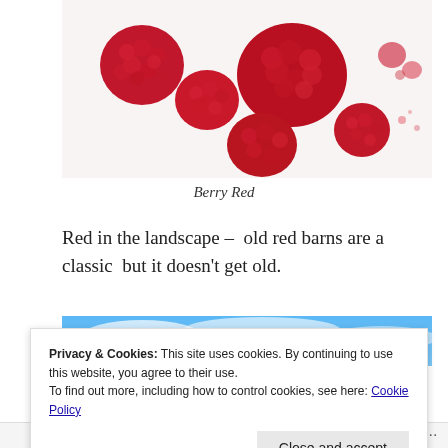[Figure (photo): Close-up photo of several bright red raspberries on a white background]
Berry Red
Red in the landscape – old red barns are a classic but it doesn't get old.
[Figure (photo): Partial view of a second image showing blue sky and clouds, mostly obscured by cookie banner]
Privacy & Cookies: This site uses cookies. By continuing to use this website, you agree to their use.
To find out more, including how to control cookies, see here: Cookie Policy
Close and accept